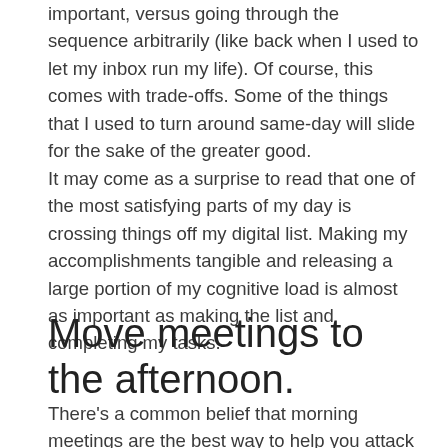important, versus going through the sequence arbitrarily (like back when I used to let my inbox run my life). Of course, this comes with trade-offs. Some of the things that I used to turn around same-day will slide for the sake of the greater good.
It may come as a surprise to read that one of the most satisfying parts of my day is crossing things off my digital list. Making my accomplishments tangible and releasing a large portion of my cognitive load is almost as important as making the list and completing my tasks.
Move meetings to the afternoon.
There’s a common belief that morning meetings are the best way to help you attack the day and get everyone on the same page. For years, I stacked meetings at the beginning of my day, until I found